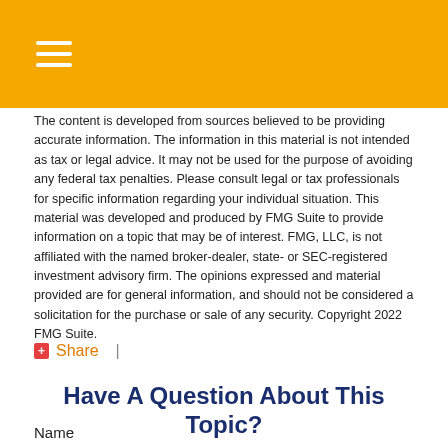The content is developed from sources believed to be providing accurate information. The information in this material is not intended as tax or legal advice. It may not be used for the purpose of avoiding any federal tax penalties. Please consult legal or tax professionals for specific information regarding your individual situation. This material was developed and produced by FMG Suite to provide information on a topic that may be of interest. FMG, LLC, is not affiliated with the named broker-dealer, state- or SEC-registered investment advisory firm. The opinions expressed and material provided are for general information, and should not be considered a solicitation for the purchase or sale of any security. Copyright 2022 FMG Suite.
+ Share  |
Have A Question About This Topic?
Name